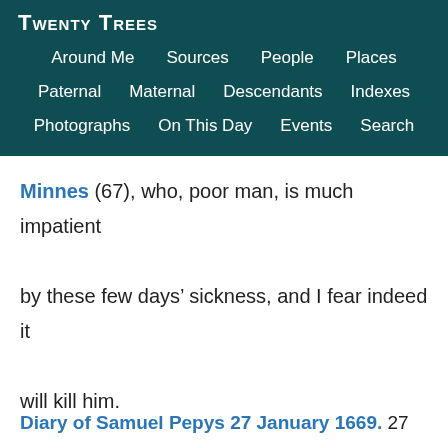Twenty Trees
Around Me  Sources  People  Places
Paternal  Maternal  Descendants  Indexes
Photographs  On This Day  Events  Search
Minnes (67), who, poor man, is much impatient by these few days' sickness, and I fear indeed it will kill him.
Diary of Samuel Pepys 27 January 1669. 27